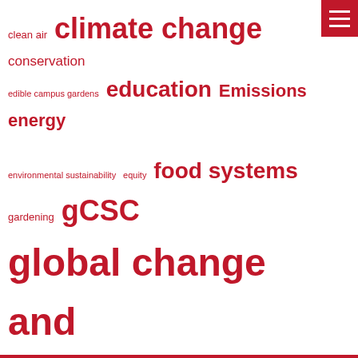[Figure (infographic): Tag cloud of sustainability-related terms in red, varying font sizes indicating frequency/importance. Terms include: clean air, climate change, conservation, edible campus gardens, education, Emissions, energy, environmental sustainability, equity, food systems, gardening, gCSC, global change and sustainability, global warming, innovative sustainability, inversion, local food, organic, pollution, public transit, public transportation, recycling, renewable energy, research, salt lake city, SCIF Seminar Series, students, sustainability, Sustainability Office, sustainable, sustainable campus, transportation, U, university of utah, u of u, utah, waste, water]